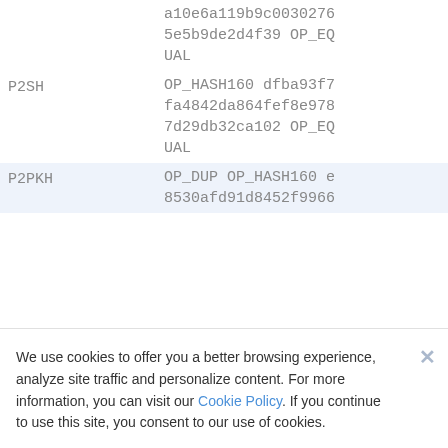| Type | Script |
| --- | --- |
|  | a10e6a119b9c0030276 5e5b9de2d4f39 OP_EQUAL |
| P2SH | OP_HASH160 dfba93f7 fa4842da864fef8e978 7d29db32ca102 OP_EQUAL |
| P2PKH | OP_DUP OP_HASH160 e 8530afd91d8452f9966 |
We use cookies to offer you a better browsing experience, analyze site traffic and personalize content. For more information, you can visit our Cookie Policy. If you continue to use this site, you consent to our use of cookies.